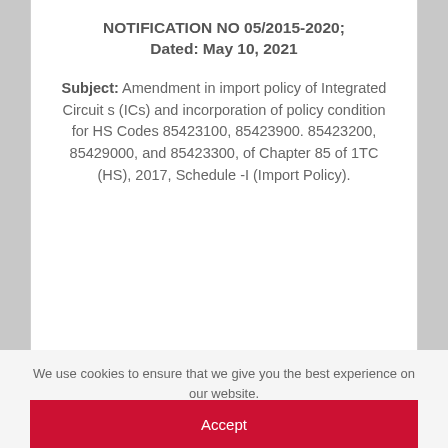NOTIFICATION NO 05/2015-2020; Dated: May 10, 2021
Subject: Amendment in import policy of Integrated Circuit s (ICs) and incorporation of policy condition for HS Codes 85423100, 85423900. 85423200, 85429000, and 85423300, of Chapter 85 of 1TC (HS), 2017, Schedule -I (Import Policy).
We use cookies to ensure that we give you the best experience on our website.
Accept